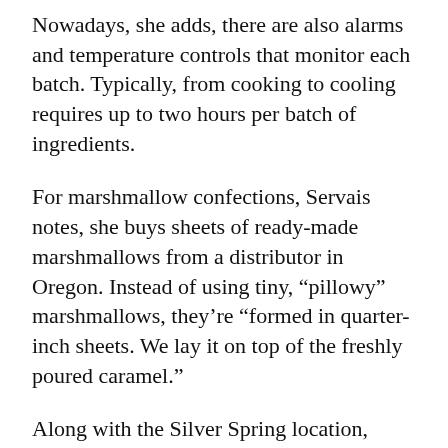Nowadays, she adds, there are also alarms and temperature controls that monitor each batch. Typically, from cooking to cooling requires up to two hours per batch of ingredients.
For marshmallow confections, Servais notes, she buys sheets of ready-made marshmallows from a distributor in Oregon. Instead of using tiny, “pillowy” marshmallows, they’re “formed in quarter-inch sheets. We lay it on top of the freshly poured caramel.”
Along with the Silver Spring location, there’s a Velatis inside the Pentagon and another at the Mark Center in Alexandria, a mixed-use development and installation for military contractors. Those outlets are accessible only to those on official government business.
Velatis packs deep roots in the region. The candy